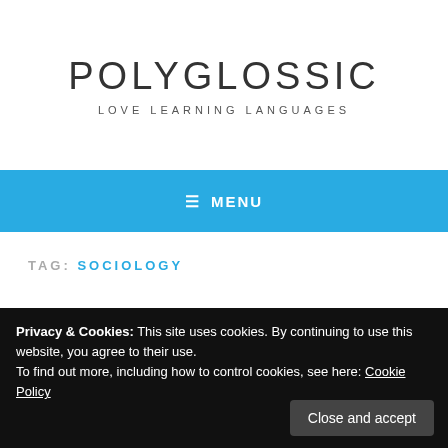POLYGLOSSIC
LOVE LEARNING LANGUAGES
≡  MENU
TAG: SOCIOLOGY
Privacy & Cookies: This site uses cookies. By continuing to use this website, you agree to their use.
To find out more, including how to control cookies, see here: Cookie Policy
Close and accept